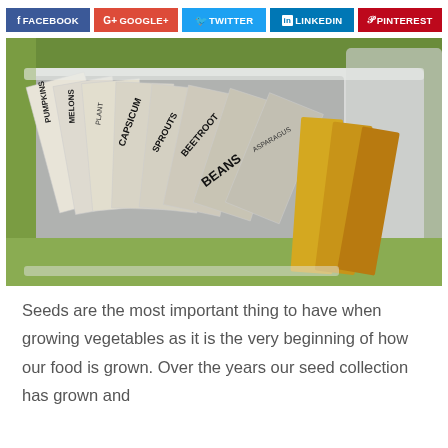[Figure (other): Social media share buttons: Facebook (blue), Google+ (red), Twitter (cyan), LinkedIn (blue), Pinterest (red)]
[Figure (photo): A clear plastic storage box containing labeled seed packets organized like a filing system. Labels visible include PUMPKINS, MELONS, CAPSICUM, SPROUTS, BEETROOT, BEANS, and others, written in black marker on folded paper envelopes.]
Seeds are the most important thing to have when growing vegetables as it is the very beginning of how our food is grown. Over the years our seed collection has grown and